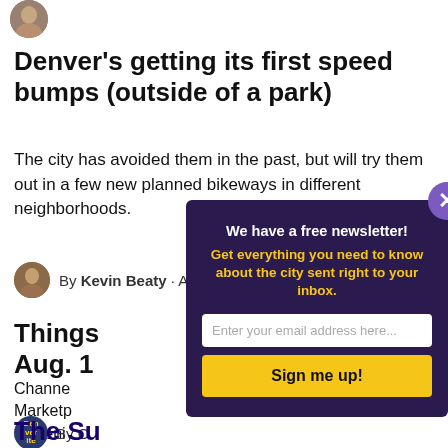[Figure (photo): Small circular author avatar photo at top left]
Denver’s getting its first speed bumps (outside of a park)
The city has avoided them in the past, but will try them out in a few new planned bikeways in different neighborhoods.
By Kevin Beaty · Aug. 19
Things [Aug. 1…]
Channe… Marketp… screeni…
By O…
The Su…
[Figure (infographic): Newsletter signup modal overlay with dark purple background. Title: We have a free newsletter! Subtitle in yellow: Get everything you need to know about the city sent right to your inbox. Email input field and yellow Sign me up! button. Purple close X button in top right corner.]